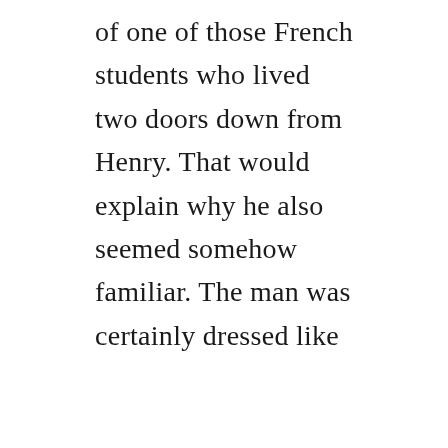of one of those French students who lived two doors down from Henry. That would explain why he also seemed somehow familiar. The man was certainly dressed like